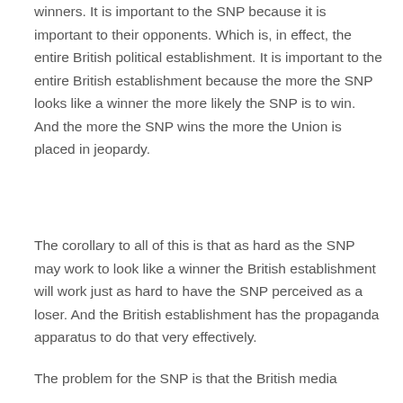winners. It is important to the SNP because it is important to their opponents. Which is, in effect, the entire British political establishment. It is important to the entire British establishment because the more the SNP looks like a winner the more likely the SNP is to win. And the more the SNP wins the more the Union is placed in jeopardy.
The corollary to all of this is that as hard as the SNP may work to look like a winner the British establishment will work just as hard to have the SNP perceived as a loser. And the British establishment has the propaganda apparatus to do that very effectively.
The problem for the SNP is that the British media